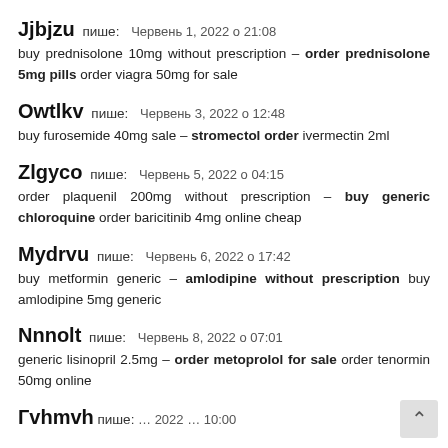Jjbjzu пише: Червень 1, 2022 о 21:08 — buy prednisolone 10mg without prescription – order prednisolone 5mg pills order viagra 50mg for sale
Owtlkv пише: Червень 3, 2022 о 12:48 — buy furosemide 40mg sale – stromectol order ivermectin 2ml
Zlgyco пише: Червень 5, 2022 о 04:15 — order plaquenil 200mg without prescription – buy generic chloroquine order baricitinib 4mg online cheap
Mydrvu пише: Червень 6, 2022 о 17:42 — buy metformin generic – amlodipine without prescription buy amlodipine 5mg generic
Nnnolt пише: Червень 8, 2022 о 07:01 — generic lisinopril 2.5mg – order metoprolol for sale order tenormin 50mg online
Гvhmvh пише: …